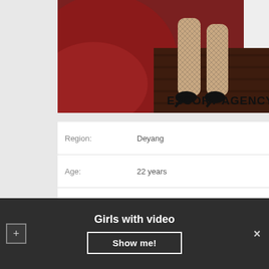[Figure (photo): Photo showing legs in fishnet stockings and black high heels with red fabric/blanket in background, with 'ESCORT AGENCY' text overlay]
| Field | Value |
| --- | --- |
| Region: | Deyang |
| Age: | 22 years |
| Height: | 171 |
| WEIGHT: | 53 |
| Availability: | 11:00 – 21:00 |
Girls with video
Show me!